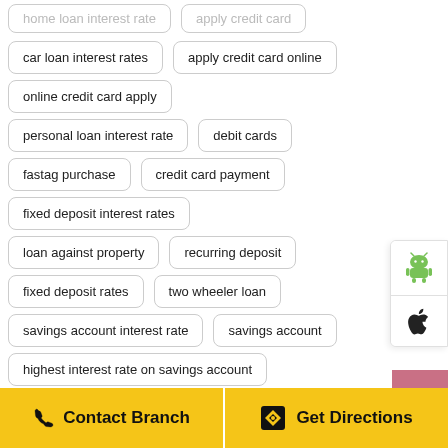home loan interest rate
apply credit card
car loan interest rates
apply credit card online
online credit card apply
personal loan interest rate
debit cards
fastag purchase
credit card payment
fixed deposit interest rates
loan against property
recurring deposit
fixed deposit rates
two wheeler loan
savings account interest rate
savings account
highest interest rate on savings account
[Figure (other): Android app download button (green Android robot icon)]
[Figure (other): Apple app download button (Apple logo icon)]
[Figure (other): Scroll to top button with upward chevron on pink/mauve background]
Contact Branch | Get Directions